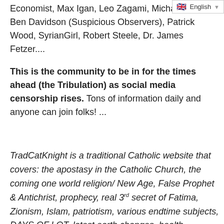Economist, Max Igan, Leo Zagami, Michael Jones, Ben Davidson (Suspicious Observers), Patrick Wood, SyrianGirl, Robert Steele, Dr. James Fetzer....
This is the community to be in for the times ahead (the Tribulation) as social media censorship rises. Tons of information daily and anyone can join folks! ...
TradCatKnight is a traditional Catholic website that covers: the apostasy in the Catholic Church, the coming one world religion/ New Age, False Prophet & Antichrist, prophecy, real 3rd secret of Fatima, Zionism, Islam, patriotism, various endtime subjects, DAYS OF LOT, latest earth changes, health, GMO's, prepper/survivalism, geopolitics, economics, geo-